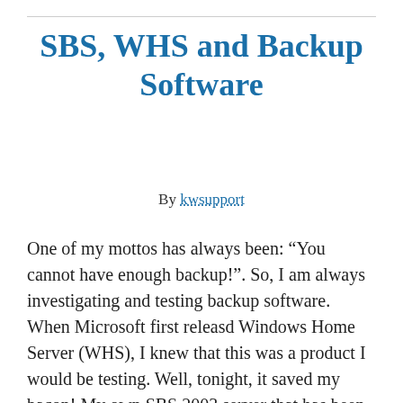SBS, WHS and Backup Software
By kwsupport
One of my mottos has always been: “You cannot have enough backup!”. So, I am always investigating and testing backup software. When Microsoft first releasd Windows Home Server (WHS), I knew that this was a product I would be testing. Well, tonight, it saved my bacon! My own SBS 2003 server that has been running for years experienced a serious hard drive failure. Fortunately I do use Raid-5 disk configuration. So I shut down the server, replaced the drive, fired up the server to